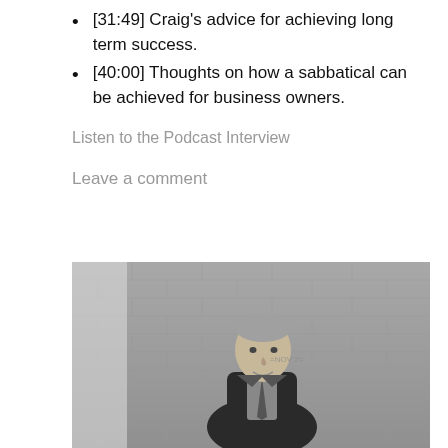[31:49] Craig's advice for achieving long term success.
[40:00] Thoughts on how a sabbatical can be achieved for business owners.
Listen to the Podcast Interview
Leave a comment
[Figure (photo): Black and white photograph of a middle-aged man in a suit and tie standing in front of a brick wall, smiling slightly.]